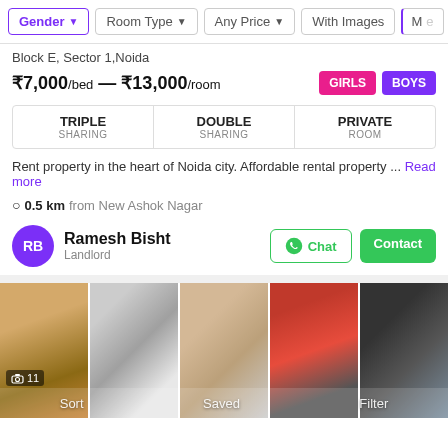Gender  Room Type  Any Price  With Images  Mo
Block E, Sector 1,Noida
₹7,000/bed — ₹13,000/room  GIRLS  BOYS
| TRIPLE SHARING | DOUBLE SHARING | PRIVATE ROOM |
| --- | --- | --- |
Rent property in the heart of Noida city. Affordable rental property ... Read more
0.5 km from New Ashok Nagar
Ramesh Bisht
Landlord
[Figure (photo): Five property photos: exterior, bathroom, another bathroom, kitchen with red cabinets, bedroom with suitcase]
11 images